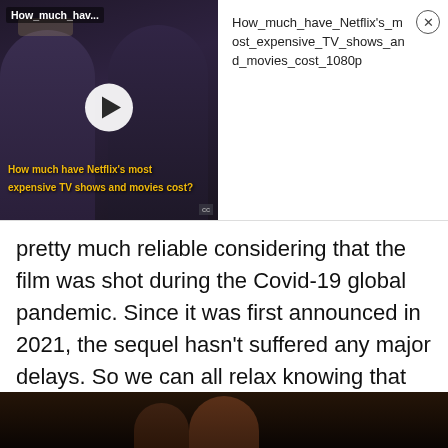[Figure (screenshot): Video thumbnail showing Netflix TV shows and movies, with two dark-lit figures (appears to be from The Crown). Shows play button overlay and yellow caption text: 'How much have Netflix's most expensive TV shows and movies cost?'. Top left label reads 'How_much_hav...']
How_much_have_Netflix's_most_expensive_TV_shows_and_movies_cost_1080p
pretty much reliable considering that the film was shot during the Covid-19 global pandemic. Since it was first announced in 2021, the sequel hasn't suffered any major delays. So we can all relax knowing that Motion Pictures will bring back Sonic on time.
[Figure (photo): Dark bottom strip showing a partially visible figure in a dimly lit scene, appears cinematic]